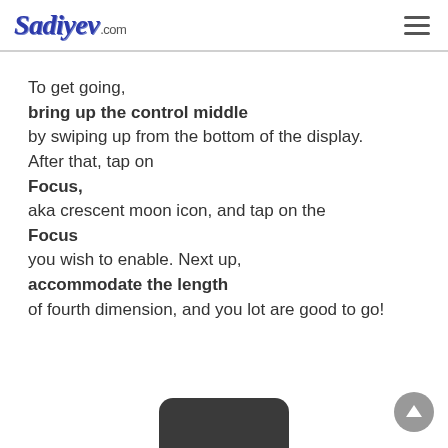Sadiyev.com
To get going, bring up the control middle by swiping up from the bottom of the display. After that, tap on Focus, aka crescent moon icon, and tap on the Focus you wish to enable. Next up, accommodate the length of fourth dimension, and you lot are good to go!
[Figure (photo): A dark rounded-top device (speaker or smart home device) partially visible at the bottom of the page]